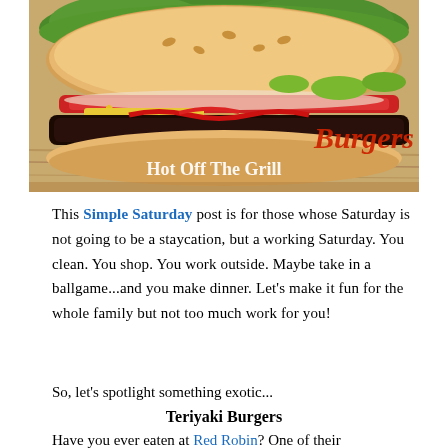[Figure (photo): A large juicy burger with lettuce, tomato, onion, pickles, and ketchup on a wooden surface. Overlaid text in red italic reads 'Burgers' and in white bold reads 'Hot Off The Grill']
This Simple Saturday post is for those whose Saturday is not going to be a staycation, but a working Saturday. You clean. You shop. You work outside. Maybe take in a ballgame...and you make dinner. Let's make it fun for the whole family but not too much work for you!
So, let's spotlight something exotic...
Teriyaki Burgers
Have you ever eaten at Red Robin? One of their